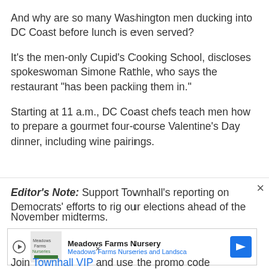And why are so many Washington men ducking into DC Coast before lunch is even served?
It's the men-only Cupid's Cooking School, discloses spokeswoman Simone Rathle, who says the restaurant "has been packing them in."
Starting at 11 a.m., DC Coast chefs teach men how to prepare a gourmet four-course Valentine's Day dinner, including wine pairings.
Editor's Note: Support Townhall's reporting on Democrats' efforts to rig our elections ahead of the November midterms.
[Figure (other): Meadows Farms Nursery advertisement banner with logo, play button, and navigation arrow]
Join Townhall VIP and use the promo code